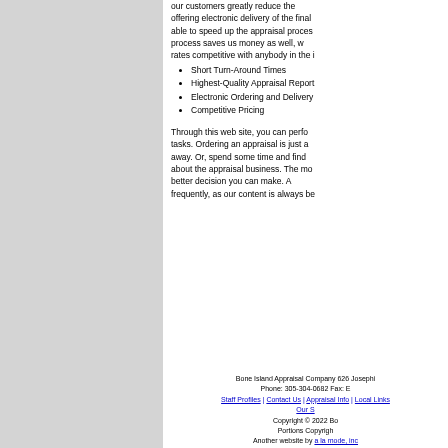our customers greatly reduce the... offering electronic delivery of the final... able to speed up the appraisal process... process saves us money as well, w... rates competitive with anybody in the i...
Short Turn-Around Times
Highest-Quality Appraisal Report
Electronic Ordering and Delivery
Competitive Pricing
Through this web site, you can perform tasks. Ordering an appraisal is just a... away. Or, spend some time and find... about the appraisal business. The mo... better decision you can make. A... frequently, as our content is always be...
Bone Island Appraisal Company 626 Josephi... Phone: 305-304-0682 Fax: E... Staff Profiles | Contact Us | Appraisal Info | Local Links | Our S... Copyright © 2022 Bo... Portions Copyrigh... Another website by a la mode, inc...